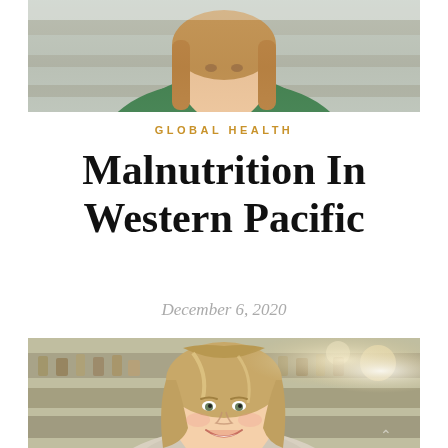[Figure (photo): Top portion of a woman with long brown hair wearing a green top, cropped at the shoulders, photographed in what appears to be a store or market setting]
GLOBAL HEALTH
Malnutrition In Western Pacific
December 6, 2020
[Figure (photo): A smiling young woman with long blonde-brown hair, standing in front of blurred store shelves with various bottles and jars, photographed from chest up]